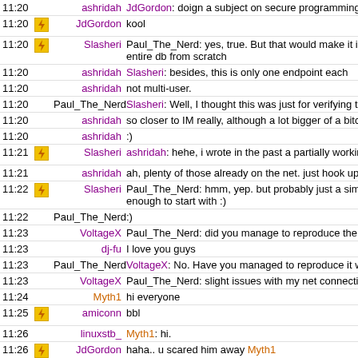| time | icon | nick | message |
| --- | --- | --- | --- |
| 11:20 |  | ashridah | JdGordon: doign a subject on secure programming |
| 11:20 | ⚡ | JdGordon | kool |
| 11:20 | ⚡ | Slasheri | Paul_The_Nerd: yes, true. But that would make it in fact slow entire db from scratch |
| 11:20 |  | ashridah | Slasheri: besides, this is only one endpoint each |
| 11:20 |  | ashridah | not multi-user. |
| 11:20 |  | Paul_The_Nerd | Slasheri: Well, I thought this was just for verifying that a file |
| 11:20 |  | ashridah | so closer to IM really, although a lot bigger of a bitch to do. |
| 11:20 |  | ashridah | :) |
| 11:21 | ⚡ | Slasheri | ashridah: hehe, i wrote in the past a partially working peer2p |
| 11:21 |  | ashridah | ah, plenty of those already on the net. just hook up videolan |
| 11:22 | ⚡ | Slasheri | Paul_The_Nerd: hmm, yep. but probably just a simple chang enough to start with :) |
| 11:22 |  | Paul_The_Nerd | :) |
| 11:23 |  | VoltageX | Paul_The_Nerd: did you manage to reproduce the chessbox/j |
| 11:23 |  | dj-fu | I love you guys |
| 11:23 |  | Paul_The_Nerd | VoltageX: No. Have you managed to reproduce it with a CV |
| 11:23 |  | VoltageX | Paul_The_Nerd: slight issues with my net connection here, d |
| 11:24 |  | Myth1 | hi everyone |
| 11:25 | ⚡ | amiconn | bbl |
| 11:26 |  | linuxstb_ | Myth1: hi. |
| 11:26 | ⚡ | JdGordon | haha.. u scared him away Myth1 |
| 11:26 |  | Myth1 | asking too much questions lately ;) |
| 11:29 | ⚡ | linuxstb | Paul_The_Nerd: To answer your question about SID in the p |
| 11:29 |  | Myth1 | will correct me if I'm wrong) - yes, the problem is th |